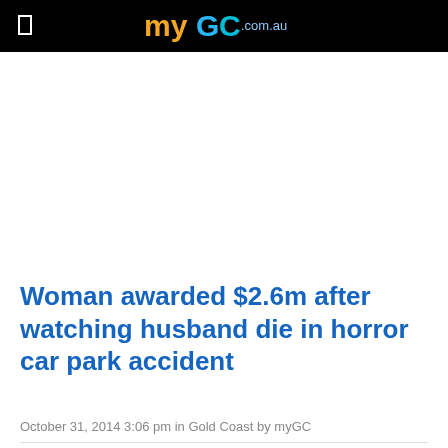myGC.com.au
Woman awarded $2.6m after watching husband die in horror car park accident
October 31, 2014 3:06 pm in Gold Coast by myGC